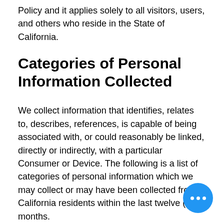Policy and it applies solely to all visitors, users, and others who reside in the State of California.
Categories of Personal Information Collected
We collect information that identifies, relates to, describes, references, is capable of being associated with, or could reasonably be linked, directly or indirectly, with a particular Consumer or Device. The following is a list of categories of personal information which we may collect or may have been collected from California residents within the last twelve (12) months.
Please note that the categories and examples provided in the list below are